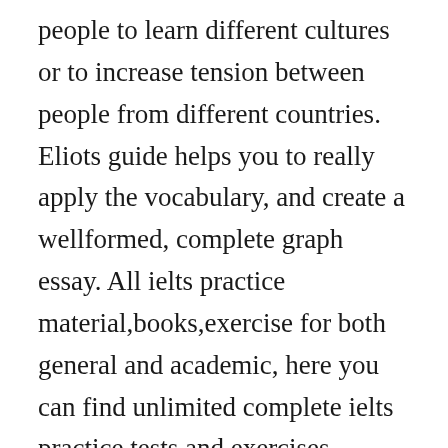people to learn different cultures or to increase tension between people from different countries. Eliots guide helps you to really apply the vocabulary, and create a wellformed, complete graph essay. All ielts practice material,books,exercise for both general and academic, here you can find unlimited complete ielts practice tests and exercises cambridge ielts book 2 freeieltsbooks cambridge ielts academic, general book 2 download audios and pdf format book with answers. Ielts writing task 2 vocabulary and organisation an overview of